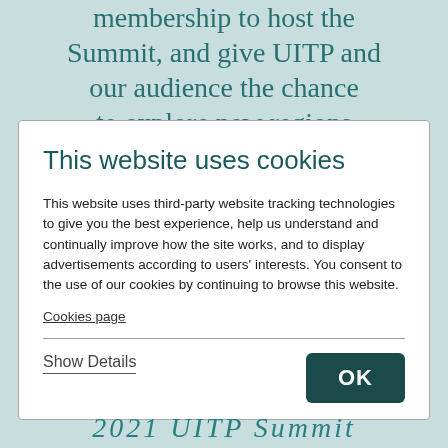membership to host the Summit, and give UITP and our audience the chance to explore new regions
This website uses cookies
This website uses third-party website tracking technologies to give you the best experience, help us understand and continually improve how the site works, and to display advertisements according to users' interests. You consent to the use of our cookies by continuing to browse this website.
Cookies page
Show Details
OK
2021 UITP Summit